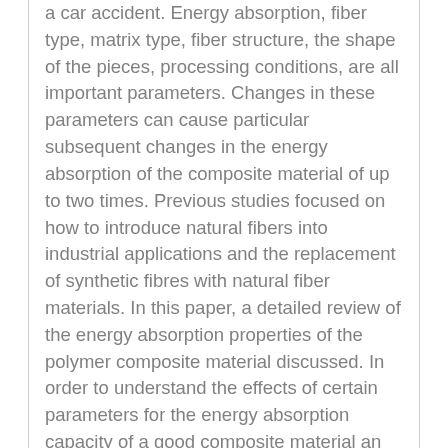a car accident. Energy absorption, fiber type, matrix type, fiber structure, the shape of the pieces, processing conditions, are all important parameters. Changes in these parameters can cause particular subsequent changes in the energy absorption of the composite material of up to two times. Previous studies focused on how to introduce natural fibers into industrial applications and the replacement of synthetic fibres with natural fiber materials. In this paper, a detailed review of the energy absorption properties of the polymer composite material discussed. In order to understand the effects of certain parameters for the energy absorption capacity of a good composite material an attempt is made to classify the work in the field of energy absorption for composite